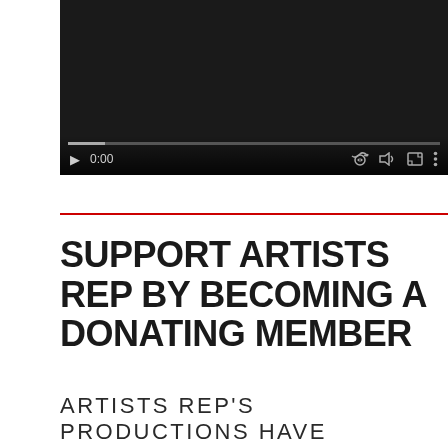[Figure (screenshot): Video player with dark background showing playback controls: play button, time display 0:00, volume icon, fullscreen icon, and more options icon, with a progress bar at the bottom.]
SUPPORT ARTISTS REP BY BECOMING A DONATING MEMBER
ARTISTS REP'S PRODUCTIONS HAVE